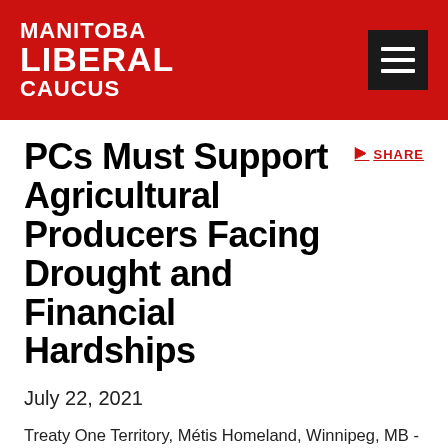MANITOBA LIBERAL CAUCUS
PCs Must Support Agricultural Producers Facing Drought and Financial Hardships
July 22, 2021
Treaty One Territory, Métis Homeland, Winnipeg, MB - Manitoba Liberals are calling on the PCs to work with the Federal Government and immediately offer supports to agricultural producers to avoid many bankruptcies due to